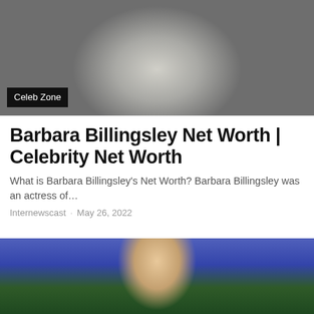[Figure (photo): Black and white portrait photo of Barbara Billingsley with 'Celeb Zone' badge overlay]
Barbara Billingsley Net Worth | Celebrity Net Worth
What is Barbara Billingsley's Net Worth? Barbara Billingsley was an actress of…
Internewscast · May 26, 2022
[Figure (photo): Photo of a soccer player in blue Chelsea FC jersey on a green pitch]